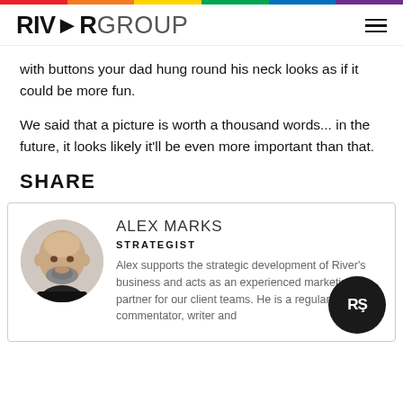RIVERGROUP
with buttons your dad hung round his neck looks as if it could be more fun.
We said that a picture is worth a thousand words... in the future, it looks likely it'll be even more important than that.
SHARE
[Figure (photo): Author card with circular headshot of Alex Marks (bald man with beard wearing black top), his name ALEX MARKS, title STRATEGIST, and bio text beginning 'Alex supports the strategic development of River's business and acts as an experienced marketing partner for our client teams. He is a regular commentator, writer and']